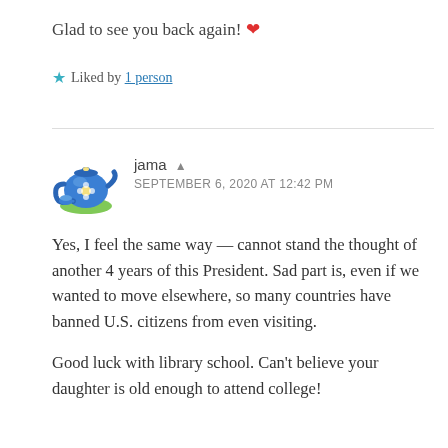Glad to see you back again! ❤
★ Liked by 1 person
jama ▲
SEPTEMBER 6, 2020 AT 12:42 PM
Yes, I feel the same way — cannot stand the thought of another 4 years of this President. Sad part is, even if we wanted to move elsewhere, so many countries have banned U.S. citizens from even visiting.
Good luck with library school. Can't believe your daughter is old enough to attend college!